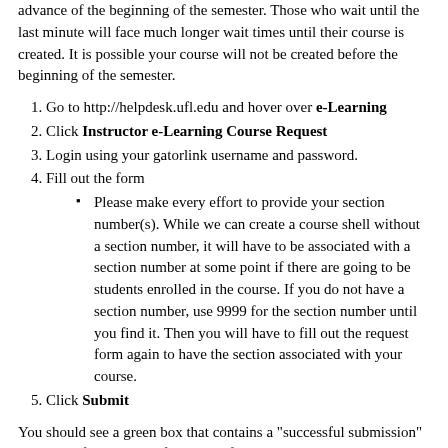advance of the beginning of the semester. Those who wait until the last minute will face much longer wait times until their course is created. It is possible your course will not be created before the beginning of the semester.
1. Go to http://helpdesk.ufl.edu and hover over e-Learning
2. Click Instructor e-Learning Course Request
3. Login using your gatorlink username and password.
4. Fill out the form
Please make every effort to provide your section number(s). While we can create a course shell without a section number, it will have to be associated with a section number at some point if there are going to be students enrolled in the course. If you do not have a section number, use 9999 for the section number until you find it. Then you will have to fill out the request form again to have the section associated with your course.
5. Click Submit
You should see a green box that contains a "successful submission" message. If you did not fill out the form correctly, you will get a red message telling you to go back and check the form for errors.
Once you've submitted successfully, you will also receive an email